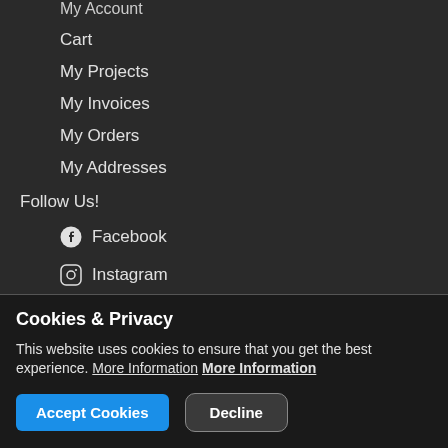My Account
Cart
My Projects
My Invoices
My Orders
My Addresses
Follow Us!
Facebook
Instagram
Snapchat
Twitter
YouTube
Cookies & Privacy
This website uses cookies to ensure that you get the best experience. More Information More Information
Accept Cookies | Decline